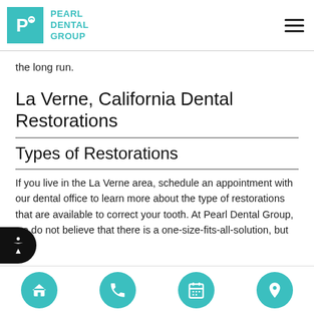Pearl Dental Group
the long run.
La Verne, California Dental Restorations
Types of Restorations
If you live in the La Verne area, schedule an appointment with our dental office to learn more about the type of restorations that are available to correct your tooth. At Pearl Dental Group, we do not believe that there is a one-size-fits-all-solution, but